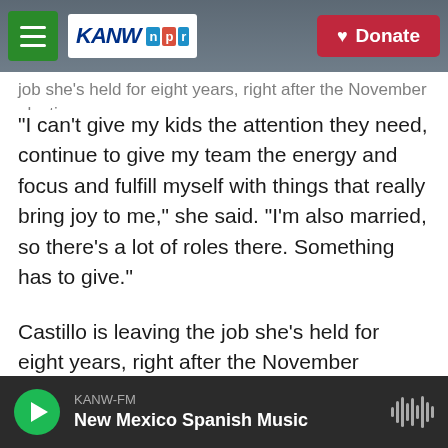KANW NPR | Donate
job she's held for eight years, right after the November election.
"I can't give my kids the attention they need, continue to give my team the energy and focus and fulfill myself with things that really bring joy to me," she said. "I'm also married, so there's a lot of roles there. Something has to give."
Castillo is leaving the job she's held for eight years, right after the November election. As someone who came to the United States as an infant from El Salvador, it wasn't an easy decision.
"In our culture, in my culture, like leaving a really
KANW-FM
New Mexico Spanish Music